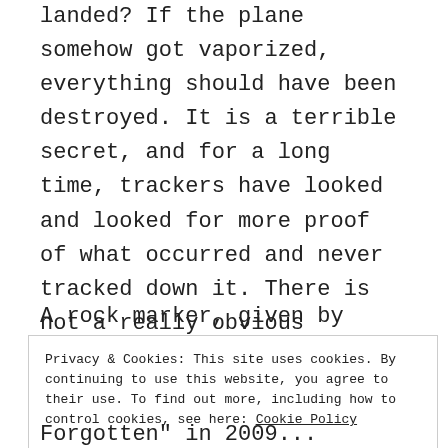landed? If the plane somehow got vaporized, everything should have been destroyed. It is a terrible secret, and for a long time, trackers have looked and looked for more proof of what occurred and never tracked down it. There is not a really obvious reason.
A rock marker, given by Filbrandt
Privacy & Cookies: This site uses cookies. By continuing to use this website, you agree to their use. To find out more, including how to control cookies, see here: Cookie Policy
Close and accept
Forgotten" in 2009...